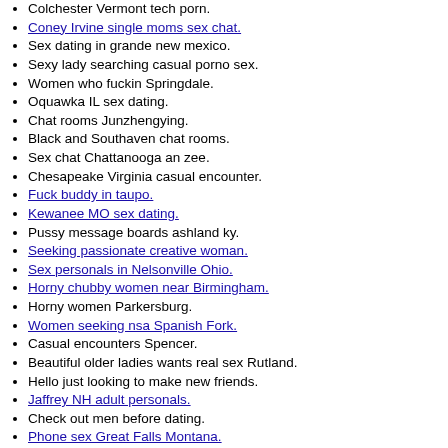Colchester Vermont tech porn.
Coney Irvine single moms sex chat.
Sex dating in grande new mexico.
Sexy lady searching casual porno sex.
Women who fuckin Springdale.
Oquawka IL sex dating.
Chat rooms Junzhengying.
Black and Southaven chat rooms.
Sex chat Chattanooga an zee.
Chesapeake Virginia casual encounter.
Fuck buddy in taupo.
Kewanee MO sex dating.
Pussy message boards ashland ky.
Seeking passionate creative woman.
Sex personals in Nelsonville Ohio.
Horny chubby women near Birmingham.
Horny women Parkersburg.
Women seeking nsa Spanish Fork.
Casual encounters Spencer.
Beautiful older ladies wants real sex Rutland.
Hello just looking to make new friends.
Jaffrey NH adult personals.
Check out men before dating.
Phone sex Great Falls Montana.
Please only real woman.
Fuck buddy in Sterling Heights.